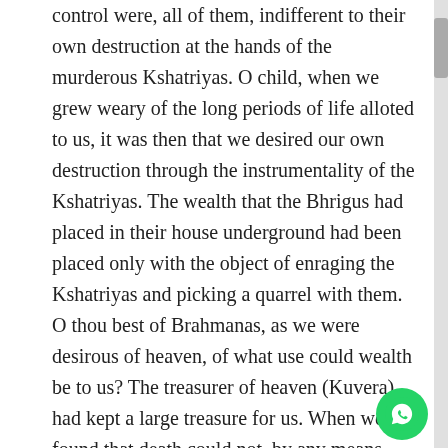control were, all of them, indifferent to their own destruction at the hands of the murderous Kshatriyas. O child, when we grew weary of the long periods of life alloted to us, it was then that we desired our own destruction through the instrumentality of the Kshatriyas. The wealth that the Bhrigus had placed in their house underground had been placed only with the object of enraging the Kshatriyas and picking a quarrel with them. O thou best of Brahmanas, as we were desirous of heaven, of what use could wealth be to us? The treasurer of heaven (Kuvera) had kept a large treasure for us. When we found that death could not, by any means, overtake us all, it was then, O child, that we regarded this as the best means (of compassing our desire).

They who commit suicide never attain to regions that are blessed. Reflecting upon this, we abstained from self-destruction. That which, therefore thou desirest to do is not agreeable to us. Restrain thy mind, therefore, from the sinful act of destroying the whole world. O child, destroy not the Kshatriyas nor the seven worlds. O, kill this wrath of thine that staineth thy ascetic energy.'